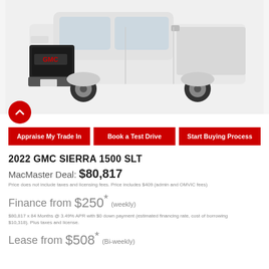[Figure (photo): White 2022 GMC Sierra 1500 SLT pickup truck shown in a 3/4 front angle on a white background]
Appraise My Trade In | Book a Test Drive | Start Buying Process
2022 GMC SIERRA 1500 SLT
MacMaster Deal: $80,817
Price does not include taxes and licensing fees. Price includes $409 (admin and OMVIC fees)
Finance from $250* (weekly)
$80,817 x 84 Months @ 3.49% APR with $0 down payment (estimated financing rate, cost of borrowing $10,318). Plus taxes and license.
Lease from $508* (Bi-weekly)